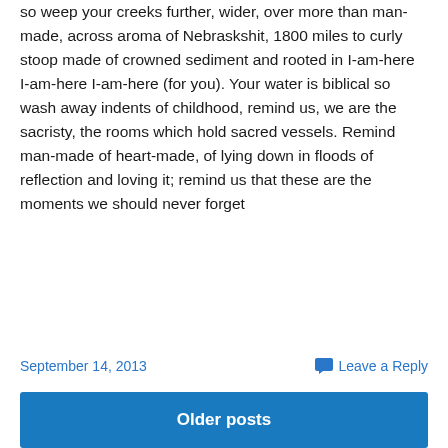so weep your creeks further, wider, over more than man-made, across aroma of Nebraskshit, 1800 miles to curly stoop made of crowned sediment and rooted in I-am-here I-am-here I-am-here (for you). Your water is biblical so wash away indents of childhood, remind us, we are the sacristy, the rooms which hold sacred vessels. Remind man-made of heart-made, of lying down in floods of reflection and loving it; remind us that these are the moments we should never forget
September 14, 2013
Leave a Reply
Older posts